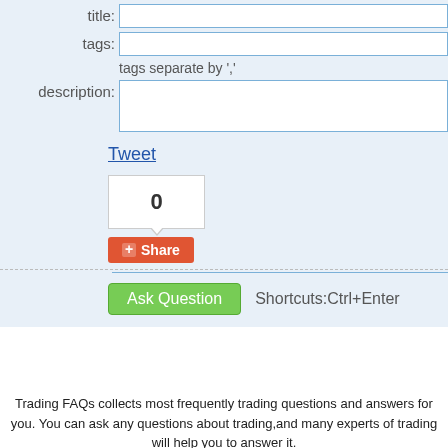title:
tags:
tags separate by ','
description:
Tweet
0
+ Share
Ask Question   Shortcuts:Ctrl+Enter
Trading FAQs collects most frequently trading questions and answers for you. You can ask any questions about trading,and many experts of trading will help you to answer it.
Copyright © 2003-2012 JustAAA.Com All Rights Reserved. Powered by Answers . User contributions licensed under cc-wiki.
Donate